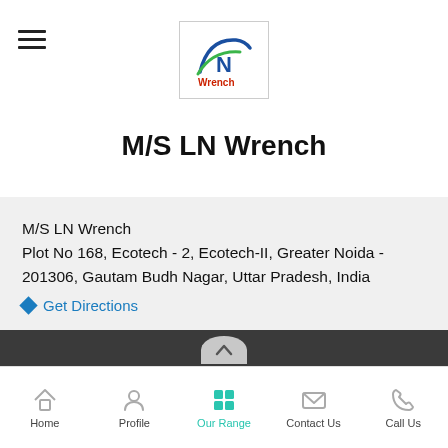[Figure (logo): LN Wrench logo with stylized N and wing shape in blue and green, with 'Wrench' text in red]
M/S LN Wrench
M/S LN Wrench
Plot No 168, Ecotech - 2, Ecotech-II, Greater Noida - 201306, Gautam Budh Nagar, Uttar Pradesh, India
◆ Get Directions
Home
Profile
Our Products
Home | Profile | Our Range | Contact Us | Call Us